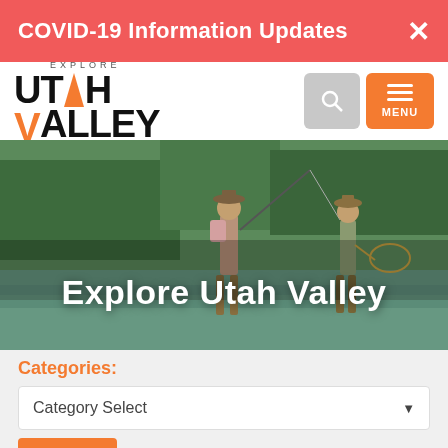COVID-19 Information Updates
[Figure (logo): Explore Utah Valley logo with mountain/valley mark]
[Figure (photo): Two people fly fishing in a river with green trees in background, overlaid with text Explore Utah Valley]
Explore Utah Valley
Categories:
Category Select
Go
Keyword: